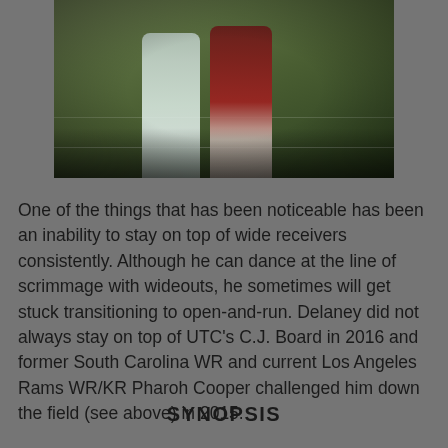[Figure (photo): Football players on a green field, one in light/white uniform and one in dark red/maroon uniform, appearing to be in coverage during a game]
One of the things that has been noticeable has been an inability to stay on top of wide receivers consistently. Although he can dance at the line of scrimmage with wideouts, he sometimes will get stuck transitioning to open-and-run. Delaney did not always stay on top of UTC's C.J. Board in 2016 and former South Carolina WR and current Los Angeles Rams WR/KR Pharoh Cooper challenged him down the field (see above) in 2015.
SYNOPSIS